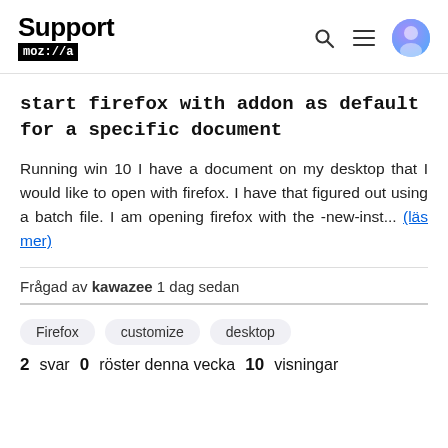Support mozilla // Search Menu Avatar
start firefox with addon as default for a specific document
Running win 10 I have a document on my desktop that I would like to open with firefox. I have that figured out using a batch file. I am opening firefox with the -new-inst... (läs mer)
Frågad av kawazee 1 dag sedan
Firefox  customize  desktop
2 svar  0 röster denna vecka  10 visningar